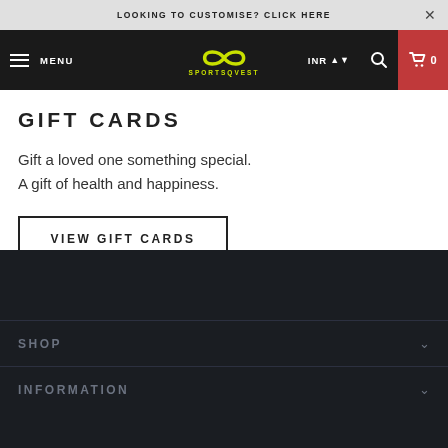LOOKING TO CUSTOMISE? CLICK HERE ×
[Figure (screenshot): SportsQvest website navigation bar with hamburger menu, logo, INR currency selector, search icon, and cart button showing 0 items]
GIFT CARDS
Gift a loved one something special.
A gift of health and happiness.
VIEW GIFT CARDS
SHOP
INFORMATION